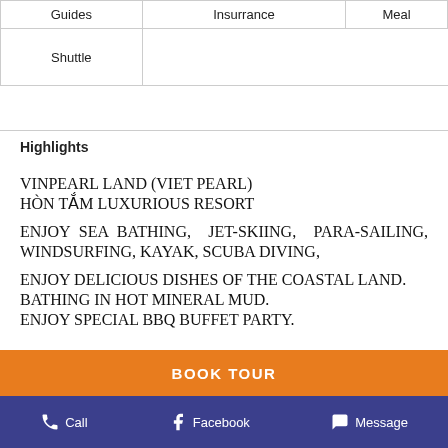| Guides | Insurrance | Meal |
| --- | --- | --- |
| Shuttle |  |  |
Highlights
VINPEARL LAND (VIET PEARL)
HÒN TẮM LUXURIOUS RESORT
ENJOY SEA BATHING, JET-SKIING, PARA-SAILING, WINDSURFING, KAYAK, SCUBA DIVING,
ENJOY DELICIOUS DISHES OF THE COASTAL LAND.
BATHING IN HOT MINERAL MUD.
ENJOY SPECIAL BBQ BUFFET PARTY.
BOOK TOUR
Call   Facebook   Message